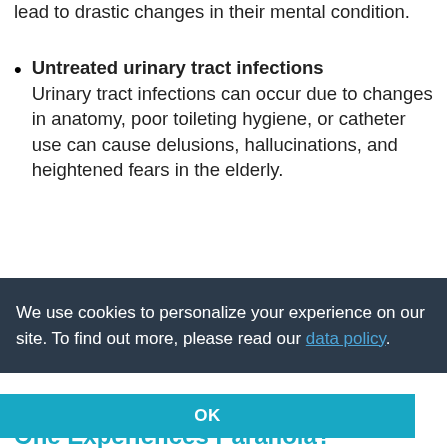lead to drastic changes in their mental condition.
Untreated urinary tract infections
Urinary tract infections can occur due to changes in anatomy, poor toileting hygiene, or catheter use can cause delusions, hallucinations, and heightened fears in the elderly.
We use cookies to personalize your experience on our site. To find out more, please read our data policy.
OK
One Experiences Paranoia?